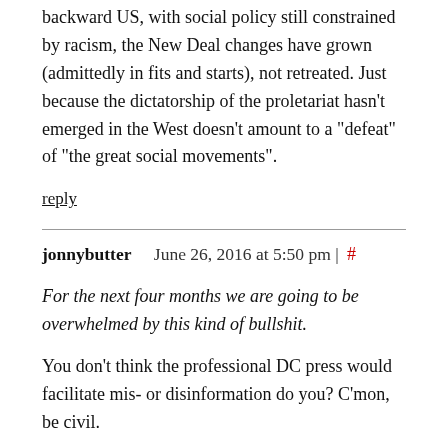backward US, with social policy still constrained by racism, the New Deal changes have grown (admittedly in fits and starts), not retreated. Just because the dictatorship of the proletariat hasn't emerged in the West doesn't amount to a "defeat" of "the great social movements".
reply
jonnybutter   June 26, 2016 at 5:50 pm | #
For the next four months we are going to be overwhelmed by this kind of bullshit.
You don't think the professional DC press would facilitate mis- or disinformation do you? C'mon, be civil.